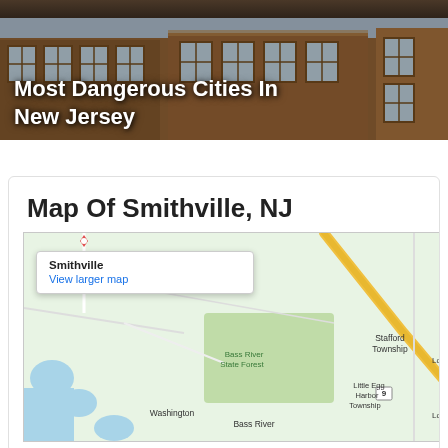[Figure (photo): Partial strip of dark image at top of page]
[Figure (photo): Hero image of brick apartment buildings with text overlay reading 'Most Dangerous Cities In New Jersey']
Map Of Smithville, NJ
[Figure (map): Google Map showing Smithville, NJ area with popup labeled 'Smithville' and 'View larger map' link. Nearby labels include Stafford Township, Bass River State Forest, Little Egg Harbor Township, Washington, Bass River, and highway marker 9.]